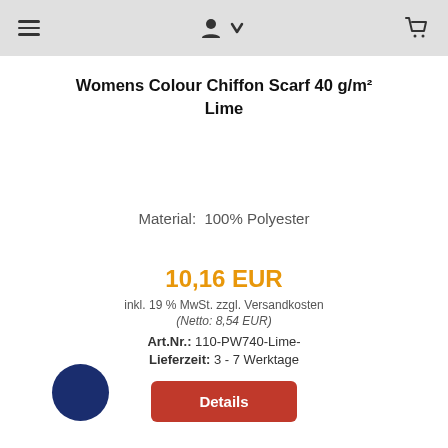Navigation bar with menu, user/download, and cart icons
Womens Colour Chiffon Scarf 40 g/m² Lime
Material: 100% Polyester
10,16 EUR
inkl. 19 % MwSt. zzgl. Versandkosten
(Netto: 8,54 EUR)
Art.Nr.: 110-PW740-Lime-
Lieferzeit: 3 - 7 Werktage
[Figure (other): Dark navy blue filled circle representing a color swatch]